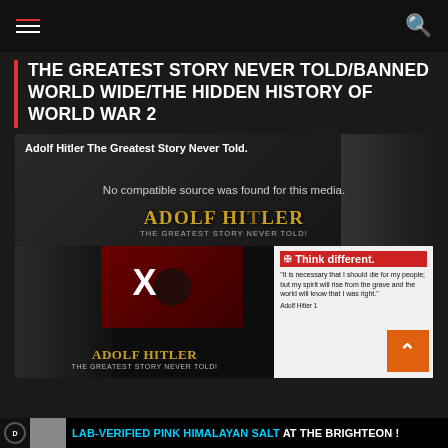Navigation bar with hamburger menu and search icon
THE GREATEST STORY NEVER TOLD/BANNED WORLD WIDE/THE HIDDEN HISTORY OF WORLD WAR 2
[Figure (screenshot): Video embed showing Adolf Hitler The Greatest Story Never Told documentary thumbnail with 'No compatible source was found for this media.' error message, swastika imagery, and a quote card reading 'Think different. It is necessary that I should die for my people; but my spirit will rise from the grave and the world will know that I was right.' — Adolf Hitler]
LAB-VERIFIED PINK HIMALAYAN SALT AT THE BRIGHTEON !